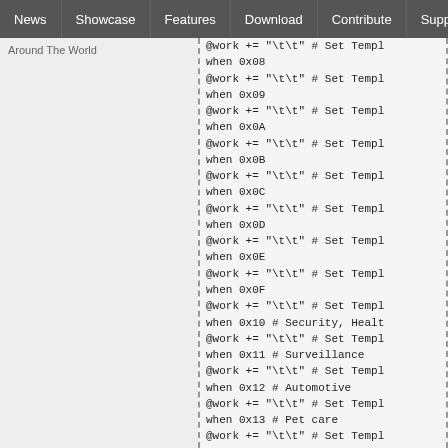News | Showcase | Features | Download | Contribute | Support
Around The World
@work += "\t\t" # Set Templ
when 0x08
@work += "\t\t" # Set Templ
when 0x09
@work += "\t\t" # Set Templ
when 0x0A
@work += "\t\t" # Set Templ
when 0x0B
@work += "\t\t" # Set Templ
when 0x0C
@work += "\t\t" # Set Templ
when 0x0D
@work += "\t\t" # Set Templ
when 0x0E
@work += "\t\t" # Set Templ
when 0x0F
@work += "\t\t" # Set Templ
when 0x10 # Security, Healt
@work += "\t\t" # Set Templ
when 0x11 # Surveillance
@work += "\t\t" # Set Templ
when 0x12 # Automotive
@work += "\t\t" # Set Templ
when 0x13 # Pet care
@work += "\t\t" # Set Templ
when 0x14 # Tour